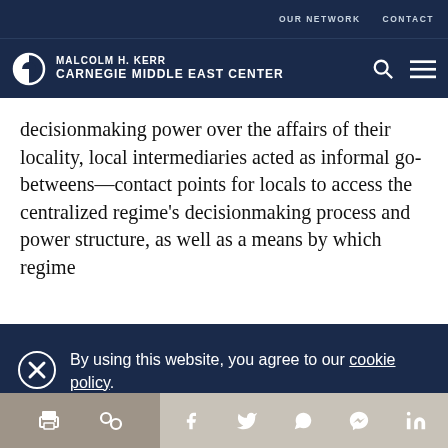OUR NETWORK   CONTACT
MALCOLM H. KERR CARNEGIE MIDDLE EAST CENTER
decisionmaking power over the affairs of their locality, local intermediaries acted as informal go-betweens—contact points for locals to access the centralized regime's decisionmaking process and power structure, as well as a means by which regime
By using this website, you agree to our cookie policy.
[print] [link] [facebook] [twitter] [whatsapp] [messenger] [linkedin]